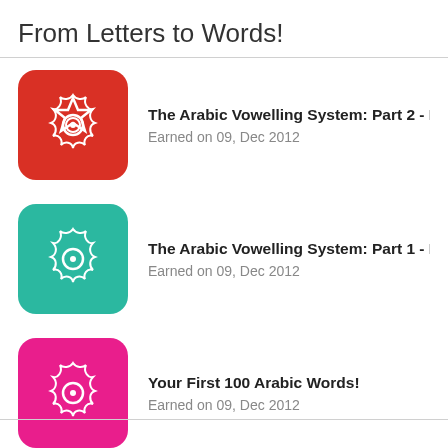From Letters to Words!
The Arabic Vowelling System: Part 2 - Nunation (التنوين)
Earned on 09, Dec 2012
The Arabic Vowelling System: Part 1 - Basic Vowels (الحركات)
Earned on 09, Dec 2012
Your First 100 Arabic Words!
Earned on 09, Dec 2012
The Arabic Vowelling System: Part 3 - Shaddah (الشدة), ...
Earned on 28, Dec 2012
A Brief Introduction to Basic Morphology (الصرف)
Earned on 19, Mar 2013